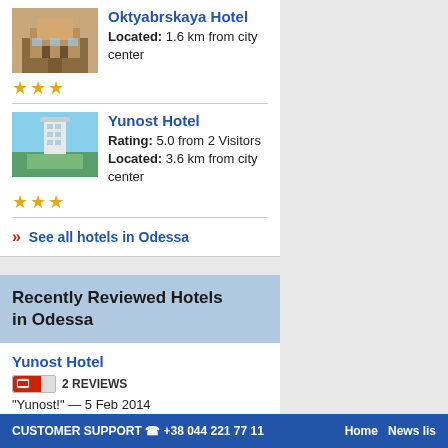Oktyabrskaya Hotel
Located: 1.6 km from city center
★★★
Yunost Hotel
Rating: 5.0 from 2 Visitors
Located: 3.6 km from city center
★★★
» See all hotels in Odessa
Recently Reviewed Hotels in Odessa
Yunost Hotel
2 REVIEWS
"Yunost!" — 5 Feb 2014
Yunost Hotel
2 REVIEWS
"Spending time in Yunost" — 5 Feb 2014
CUSTOMER SUPPORT ☎ +38 044 221 77 11   Home   News lis